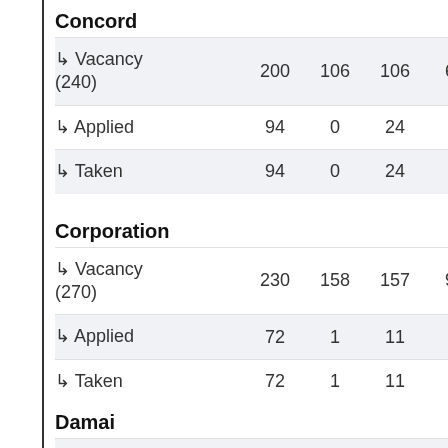Concord
|  |  |  |  |  |  |
| --- | --- | --- | --- | --- | --- |
| ↳ Vacancy (240) | 200 | 106 | 106 | 61 | 118… |
| ↳ Applied | 94 | 0 | 24 | 4 | 117… |
| ↳ Taken | 94 | 0 | 24 | 4 | 117… |
Corporation
|  |  |  |  |  |  |
| --- | --- | --- | --- | --- | --- |
| ↳ Vacancy (270) | 230 | 158 | 157 | 93 | 187… |
| ↳ Applied | 72 | 1 | 11 | 0 | 39… |
| ↳ Taken | 72 | 1 | 11 | 0 | 39… |
Damai
|  |  |  |  |  |  |
| --- | --- | --- | --- | --- | --- |
| ↳ Vacancy (240) | 200 | 167 | 167 | 99 | 198… |